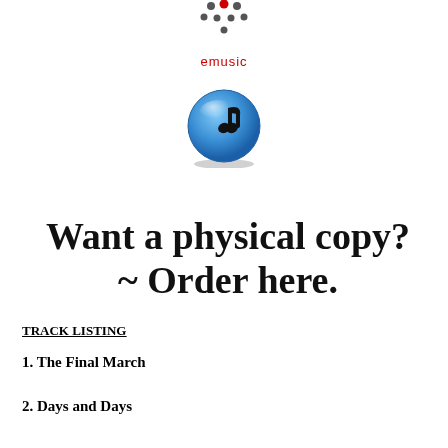[Figure (logo): emusic logo with dot pattern above the text 'emusic' in red]
[Figure (illustration): iTunes blue circle icon with music note]
Want a physical copy? ~ Order here.
TRACK LISTING
1. The Final March
2. Days and Days